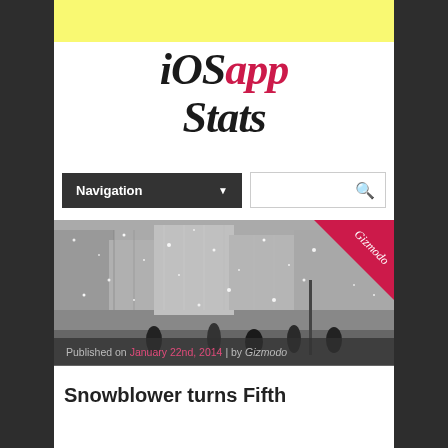[Figure (other): Yellow advertisement banner at top of page]
iOSapp Stats
Navigation ▼
[Figure (photo): Winter snowstorm street scene with silhouetted pedestrians and buildings, with a Gizmodo badge in the top-right corner]
Published on January 22nd, 2014 | by Gizmodo
Snowblower turns Fifth